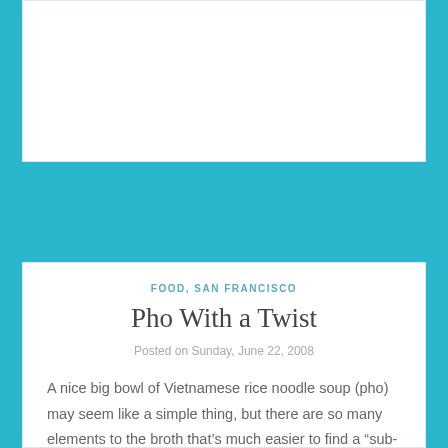FOOD, SAN FRANCISCO
Pho With a Twist
Posted on Sunday, June 22, 2008
A nice big bowl of Vietnamese rice noodle soup (pho) may seem like a simple thing, but there are so many elements to the broth that’s much easier to find a “sub-par” bowl of pho than it is to find a really good one.